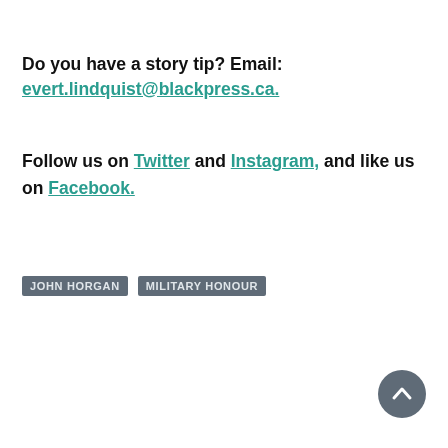Do you have a story tip? Email: evert.lindquist@blackpress.ca.
Follow us on Twitter and Instagram, and like us on Facebook.
JOHN HORGAN
MILITARY HONOUR
[Figure (other): Back to top circular button with upward chevron arrow]